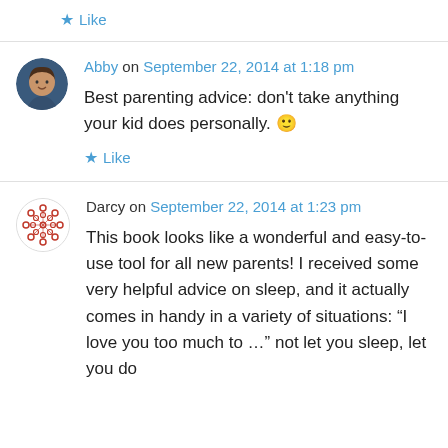★ Like
Abby on September 22, 2014 at 1:18 pm
Best parenting advice: don't take anything your kid does personally. 🙂
★ Like
Darcy on September 22, 2014 at 1:23 pm
This book looks like a wonderful and easy-to-use tool for all new parents! I received some very helpful advice on sleep, and it actually comes in handy in a variety of situations: "I love you too much to …" not let you sleep, let you do